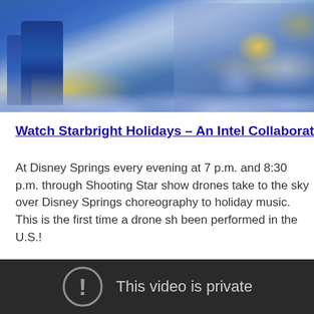[Figure (photo): Cropped photo showing people in blue costumes/dresses with holiday floral decorations including blue, white, and yellow flowers at Disney Springs]
Watch Starbright Holidays – An Intel Collaboration Light Show
At Disney Springs every evening at 7 p.m. and 8:30 p.m. through Shooting Star show drones take to the sky over Disney Springs choreography to holiday music. This is the first time a drone show has been performed in the U.S.!
[Figure (screenshot): Embedded video player with dark background showing error message: This video is private, with an exclamation mark icon in a circle]